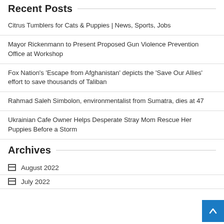Recent Posts
Citrus Tumblers for Cats & Puppies | News, Sports, Jobs
Mayor Rickenmann to Present Proposed Gun Violence Prevention Office at Workshop
Fox Nation's 'Escape from Afghanistan' depicts the 'Save Our Allies' effort to save thousands of Taliban
Rahmad Saleh Simbolon, environmentalist from Sumatra, dies at 47
Ukrainian Cafe Owner Helps Desperate Stray Mom Rescue Her Puppies Before a Storm
Archives
August 2022
July 2022